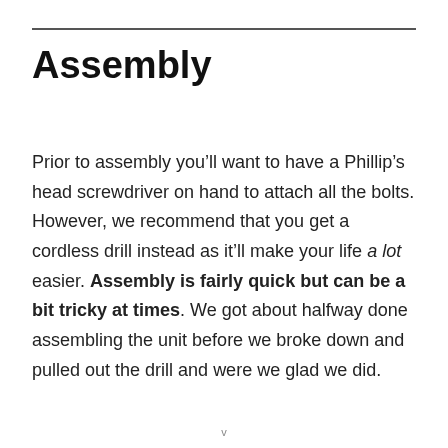Assembly
Prior to assembly you’ll want to have a Phillip’s head screwdriver on hand to attach all the bolts. However, we recommend that you get a cordless drill instead as it’ll make your life a lot easier. Assembly is fairly quick but can be a bit tricky at times. We got about halfway done assembling the unit before we broke down and pulled out the drill and were we glad we did.
v